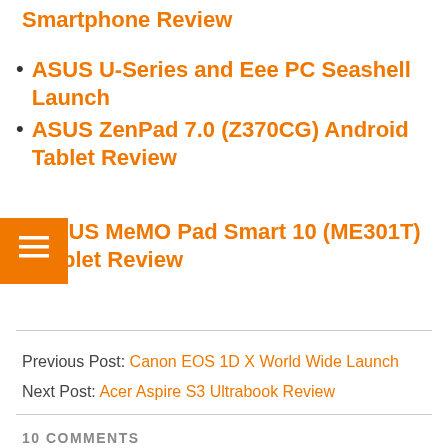Smartphone Review
ASUS U-Series and Eee PC Seashell Launch
ASUS ZenPad 7.0 (Z370CG) Android Tablet Review
ASUS MeMO Pad Smart 10 (ME301T) Tablet Review
Previous Post: Canon EOS 1D X World Wide Launch
Next Post: Acer Aspire S3 Ultrabook Review
10 COMMENTS
This Transformers is pretty good stuff, I'd say...